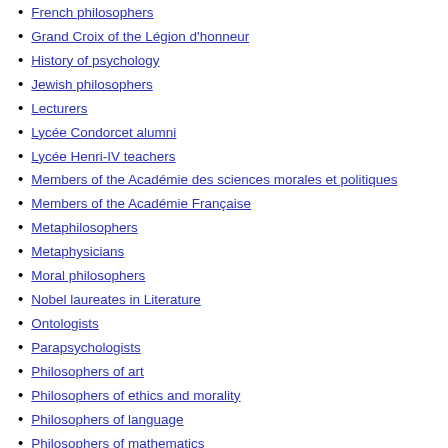French philosophers
Grand Croix of the Légion d'honneur
History of psychology
Jewish philosophers
Lecturers
Lycée Condorcet alumni
Lycée Henri-IV teachers
Members of the Académie des sciences morales et politiques
Members of the Académie Française
Metaphilosophers
Metaphysicians
Moral philosophers
Nobel laureates in Literature
Ontologists
Parapsychologists
Philosophers of art
Philosophers of ethics and morality
Philosophers of language
Philosophers of mathematics
Philosophers of mind
Philosophers of psychology
Philosophers of religion
Philosophers of science
Philosophers of time
Philosophy academics
Philosophy teachers